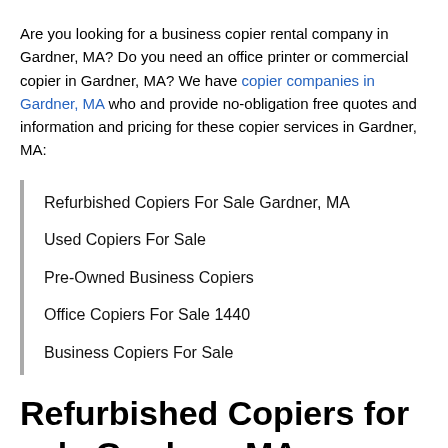Are you looking for a business copier rental company in Gardner, MA? Do you need an office printer or commercial copier in Gardner, MA? We have copier companies in Gardner, MA who and provide no-obligation free quotes and information and pricing for these copier services in Gardner, MA:
Refurbished Copiers For Sale Gardner, MA
Used Copiers For Sale
Pre-Owned Business Copiers
Office Copiers For Sale 1440
Business Copiers For Sale
Refurbished Copiers for sale Gardner, MA
Searching for a used commercial copier? Would you like to